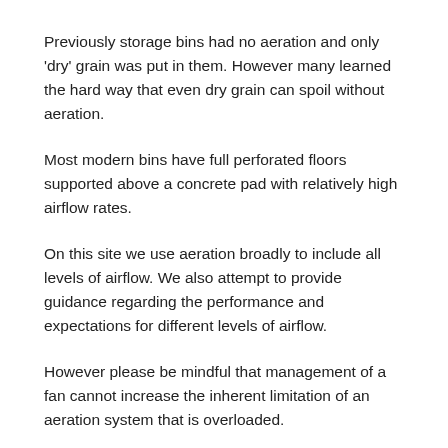Previously storage bins had no aeration and only 'dry' grain was put in them. However many learned the hard way that even dry grain can spoil without aeration.
Most modern bins have full perforated floors supported above a concrete pad with relatively high airflow rates.
On this site we use aeration broadly to include all levels of airflow. We also attempt to provide guidance regarding the performance and expectations for different levels of airflow.
However please be mindful that management of a fan cannot increase the inherent limitation of an aeration system that is overloaded.